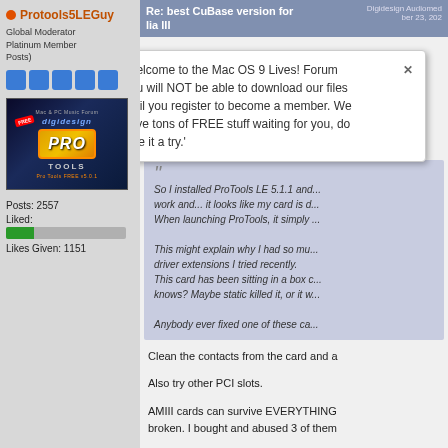Protools5LEGuy
Global Moderator, Platinum Member (Posts)
[Figure (screenshot): Digidesign Pro Tools box art / avatar image]
Posts: 2557
Liked:
Likes Given: 1151
Re: best CuBase version for lia III
Digidesign Audiomedia ber 23, 202...
'Welcome to the Mac OS 9 Lives! Forum You will NOT be able to download our files until you register to become a member. We have tons of FREE stuff waiting for you, do give it a try.'
Quote from: reeskm on October 7, 2021, 09:47
So I installed ProTools LE 5.1.1 and... work and... it looks like my card is d... When launching ProTools, it simply ...

This might explain why I had so mu... driver extensions I tried recently. This card has been sitting in a box c... knows? Maybe static killed it, or it w...

Anybody ever fixed one of these ca...
Clean the contacts from the card and a
Also try other PCI slots.
AMIII cards can survive EVERYTHING broken. I bought and abused 3 of them